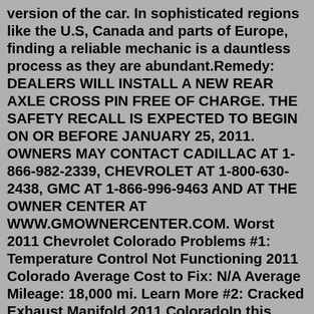version of the car. In sophisticated regions like the U.S, Canada and parts of Europe, finding a reliable mechanic is a dauntless process as they are abundant.Remedy: DEALERS WILL INSTALL A NEW REAR AXLE CROSS PIN FREE OF CHARGE. THE SAFETY RECALL IS EXPECTED TO BEGIN ON OR BEFORE JANUARY 25, 2011. OWNERS MAY CONTACT CADILLAC AT 1-866-982-2339, CHEVROLET AT 1-800-630-2438, GMC AT 1-866-996-9463 AND AT THE OWNER CENTER AT WWW.GMOWNERCENTER.COM. Worst 2011 Chevrolet Colorado Problems #1: Temperature Control Not Functioning 2011 Colorado Average Cost to Fix: N/A Average Mileage: 18,000 mi. Learn More #2: Cracked Exhaust Manifold 2011 ColoradoIn this video I come into work early because I started to second guess a diag I made on a Chevy Colorado. It wont crank over and I was 99% sure it was the ig... The 2011 Chevy Colorado offers a range of engines including an inline-4, inline-5 and a V8. On Work Trucks and LT1 models, the standard engine is a 3.0